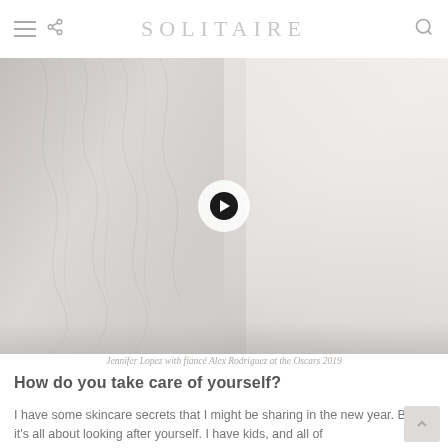SOLITAIRE
[Figure (photo): Photo of Jennifer Lopez with fiancé Alex Rodriguez at the Oscars 2019, with a video play button overlay in the center]
Jennifer Lopez with fiancé Alex Rodriguez at the Oscars 2019
How do you take care of yourself?
I have some skincare secrets that I might be sharing in the new year. But it's all about looking after yourself. I have kids, and all of